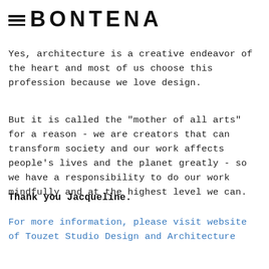≡ BONTENA
Yes, architecture is a creative endeavor of the heart and most of us choose this profession because we love design.
But it is called the "mother of all arts" for a reason - we are creators that can transform society and our work affects people's lives and the planet greatly - so we have a responsibility to do our work mindfully and at the highest level we can.
Thank you Jacqueline.
For more information, please visit website of Touzet Studio Design and Architecture